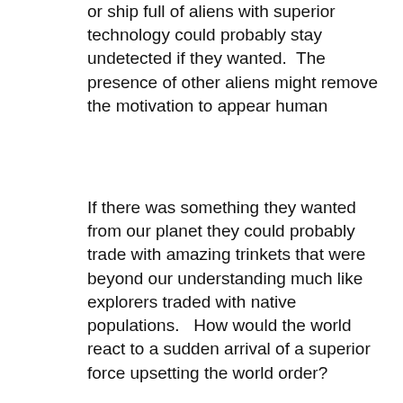or ship full of aliens with superior technology could probably stay undetected if they wanted.  The presence of other aliens might remove the motivation to appear human
If there was something they wanted from our planet they could probably trade with amazing trinkets that were beyond our understanding much like explorers traded with native populations.   How would the world react to a sudden arrival of a superior force upsetting the world order?
Would there be cargo cults to worship the superior aliens? www.scientificamerican.com/article/1959-cargo-cults-melanesia/ en.wikipedia.org/wiki/Cargo_cult
There's a wide range of what a matriarchal society could be.  But it doesn't say the women are actually superior